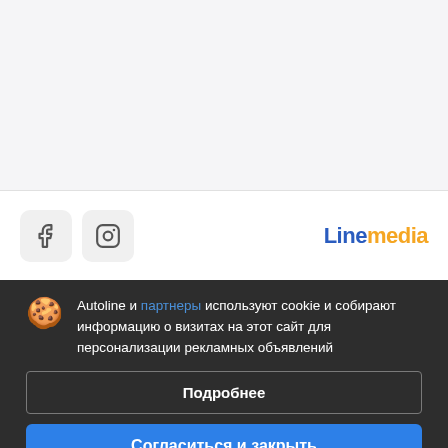[Figure (screenshot): Top grey section of a website]
[Figure (logo): Social media icons (Facebook, Instagram) and Linemedia logo on white bar]
Компания
О нас
Помощь
Контакты
Autoline и партнеры используют cookie и собирают информацию о визитах на этот сайт для персонализации рекламных объявлений
Подробнее
Согласиться и закрыть
Наши проекты